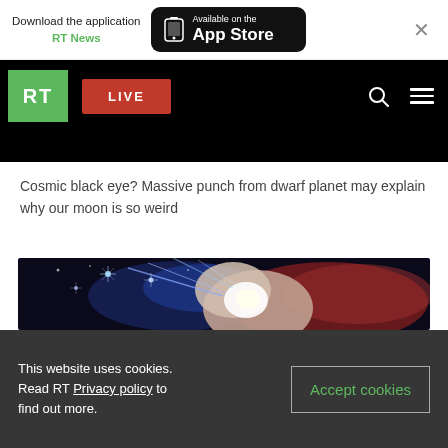Download the application RT News — Available on the App Store
RT LIVE
Cosmic black eye? Massive punch from dwarf planet may explain why our moon is so weird
[Figure (photo): Artistic rendering of a cosmic collision or impact event in space — glowing red and white rocky bodies colliding with blue energy rays and stars in the background]
This website uses cookies. Read RT Privacy policy to find out more. Accept cookies